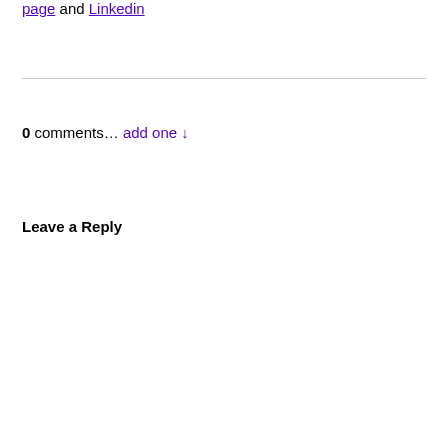page and Linkedin
0 comments… add one ↓
Leave a Reply